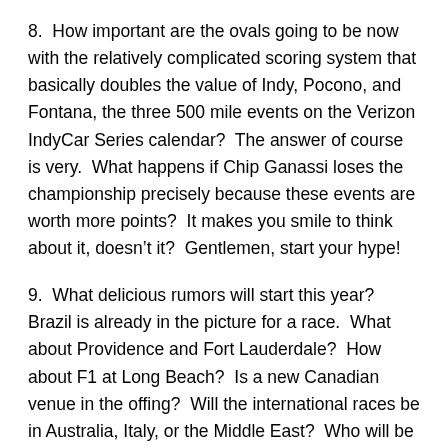8.  How important are the ovals going to be now with the relatively complicated scoring system that basically doubles the value of Indy, Pocono, and Fontana, the three 500 mile events on the Verizon IndyCar Series calendar?  The answer of course is very.  What happens if Chip Ganassi loses the championship precisely because these events are worth more points?  It makes you smile to think about it, doesn't it?  Gentlemen, start your hype!
9.  What delicious rumors will start this year?  Brazil is already in the picture for a race.  What about Providence and Fort Lauderdale?  How about F1 at Long Beach?  Is a new Canadian venue in the offing?  Will the international races be in Australia, Italy, or the Middle East?  Who will be buying the Indianapolis Motor Speedway from the Hulman-George family?  Gossip and rumormongering are IndyCar traditions that will never die.